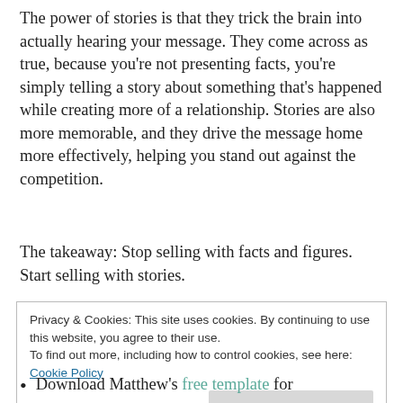The power of stories is that they trick the brain into actually hearing your message. They come across as true, because you're not presenting facts, you're simply telling a story about something that's happened while creating more of a relationship. Stories are also more memorable, and they drive the message home more effectively, helping you stand out against the competition.
The takeaway: Stop selling with facts and figures. Start selling with stories.
Privacy & Cookies: This site uses cookies. By continuing to use this website, you agree to their use.
To find out more, including how to control cookies, see here: Cookie Policy
Close and accept
Download Matthew's free template for